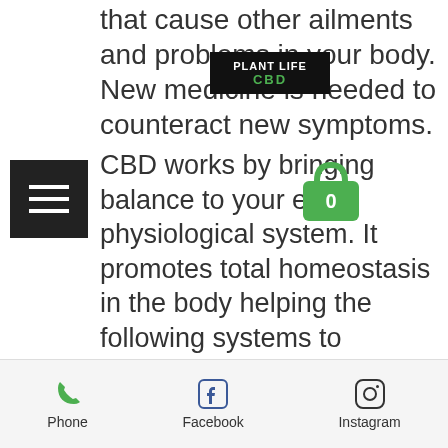that cause other ailments and problems in your body. New medicine is needed to counteract new symptoms.
[Figure (logo): Plant Life CBD logo — black background with white text 'PLANT LIFE' and green text 'CBD']
[Figure (other): Hamburger menu icon — three white horizontal lines on black square background]
[Figure (other): Shopping cart icon — green bag with '0' label]
CBD works by bringing balance to your entire physiological system. It promotes total homeostasis in the body helping the following systems to restore:
-The Central Nervous System
Phone   Facebook   Instagram